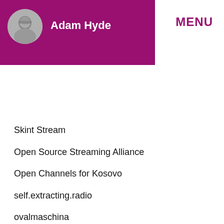[Figure (illustration): Purple/magenta header banner with circular black-and-white avatar photo of Adam Hyde on the left, and bold white text 'Adam Hyde' next to it. Large magenta bold 'MENU' text on the upper right.]
Skint Stream
Open Source Streaming Alliance
Open Channels for Kosovo
self.extracting.radio
ovalmaschina
Gema
simpel